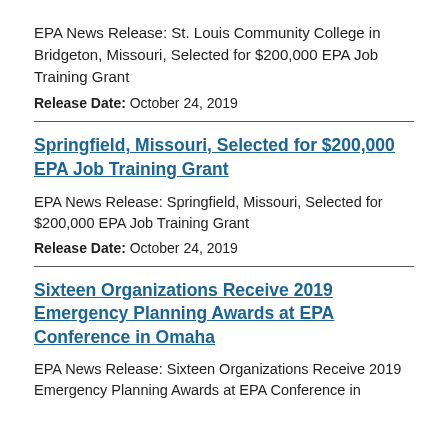EPA News Release: St. Louis Community College in Bridgeton, Missouri, Selected for $200,000 EPA Job Training Grant
Release Date: October 24, 2019
Springfield, Missouri, Selected for $200,000 EPA Job Training Grant
EPA News Release: Springfield, Missouri, Selected for $200,000 EPA Job Training Grant
Release Date: October 24, 2019
Sixteen Organizations Receive 2019 Emergency Planning Awards at EPA Conference in Omaha
EPA News Release: Sixteen Organizations Receive 2019 Emergency Planning Awards at EPA Conference in